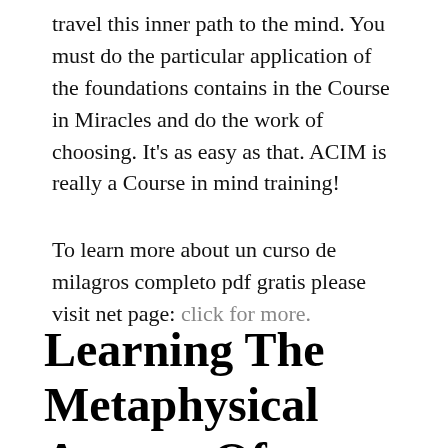travel this inner path to the mind. You must do the particular application of the foundations contains in the Course in Miracles and do the work of choosing. It's as easy as that. ACIM is really a Course in mind training!
To learn more about un curso de milagros completo pdf gratis please visit net page: click for more.
Learning The Metaphysical Aspects Of A Course In Miracles